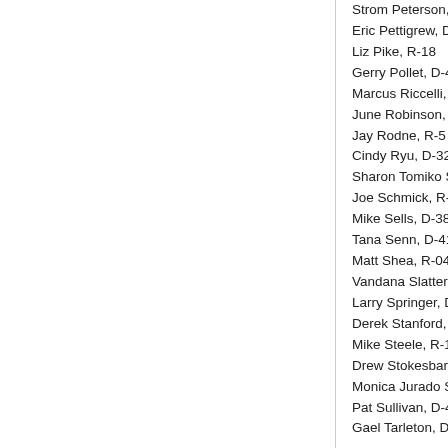Strom Peterson, D-
Eric Pettigrew, D-3
Liz Pike, R-18
Gerry Pollet, D-46
Marcus Riccelli, D-
June Robinson, D
Jay Rodne, R-5
Cindy Ryu, D-32
Sharon Tomiko Sa
Joe Schmick, R-9
Mike Sells, D-38
Tana Senn, D-41
Matt Shea, R-04
Vandana Slatter, D
Larry Springer, D-
Derek Stanford, D
Mike Steele, R-12
Drew Stokesbary,
Monica Jurado Sto
Pat Sullivan, D-47
Gael Tarleton, D-